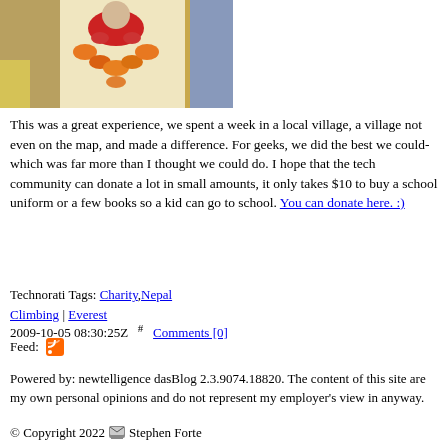[Figure (photo): Photo of a person wearing a cream/gold robe decorated with garlands of red and orange flowers, in an outdoor village setting]
This was a great experience, we spent a week in a local village, a village not even on the map, and made a difference. For geeks, we did the best we could-which was far more than I thought we could do. I hope that the tech community can donate a lot in small amounts, it only takes $10 to buy a school uniform or a few books so a kid can go to school. You can donate here. :)
Technorati Tags: Charity, Nepal Climbing | Everest
2009-10-05 08:30:25Z  #  Comments [0]
Feed:
Powered by: newtelligence dasBlog 2.3.9074.18820. The content of this site are my own personal opinions and do not represent my employer's view in anyway.
© Copyright 2022  Stephen Forte